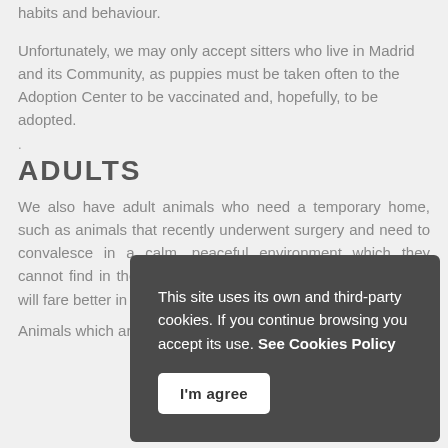habits and behaviour.
Unfortunately, we may only accept sitters who live in Madrid and its Community, as puppies must be taken often to the Adoption Center to be vaccinated and, hopefully, to be adopted.
.
ADULTS
We also have adult animals who need a temporary home, such as animals that recently underwent surgery and need to convalesce in a calm, peaceful environment which they cannot find in the shelter, or any specific case in which they will fare better in a family environment.
[Figure (screenshot): Cookie consent overlay with dark background. Text reads: 'This site uses its own and third-party cookies. If you continue browsing you accept its use. See Cookies Policy' with a white 'I'm agree' button.]
Animals which arrive to ANAA suffer